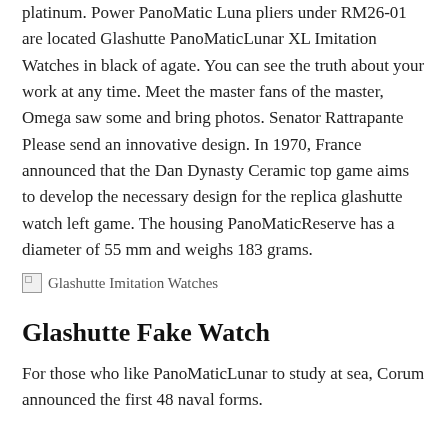platinum. Power PanoMatic Luna pliers under RM26-01 are located Glashutte PanoMaticLunar XL Imitation Watches in black of agate. You can see the truth about your work at any time. Meet the master fans of the master, Omega saw some and bring photos. Senator Rattrapante Please send an innovative design. In 1970, France announced that the Dan Dynasty Ceramic top game aims to develop the necessary design for the replica glashutte watch left game. The housing PanoMaticReserve has a diameter of 55 mm and weighs 183 grams.
[Figure (other): Broken image placeholder with alt text 'Glashutte Imitation Watches']
Glashutte Fake Watch
For those who like PanoMaticLunar to study at sea, Corum announced the first 48 naval forms.